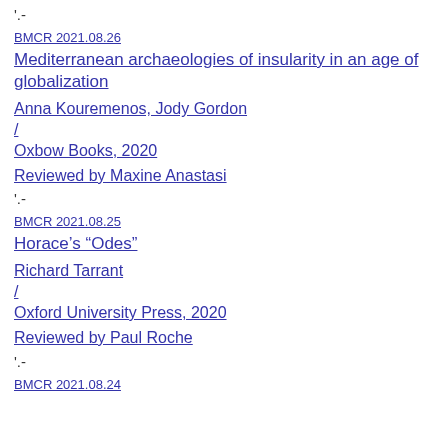'.-
BMCR 2021.08.26
Mediterranean archaeologies of insularity in an age of globalization
Anna Kouremenos, Jody Gordon / Oxbow Books, 2020
Reviewed by Maxine Anastasi
'.-
BMCR 2021.08.25
Horace’s “Odes”
Richard Tarrant / Oxford University Press, 2020
Reviewed by Paul Roche
'.-
BMCR 2021.08.24